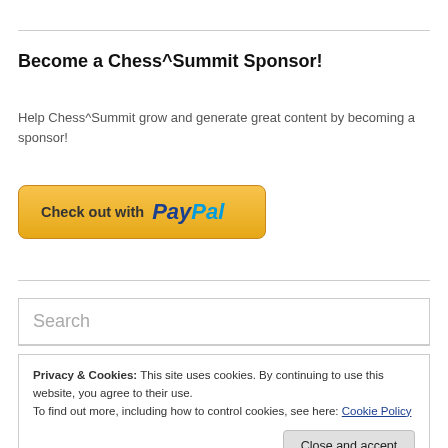Become a Chess^Summit Sponsor!
Help Chess^Summit grow and generate great content by becoming a sponsor!
[Figure (other): PayPal checkout button with yellow/gold background reading 'Check out with PayPal']
Search
Privacy & Cookies: This site uses cookies. By continuing to use this website, you agree to their use.
To find out more, including how to control cookies, see here: Cookie Policy
Close and accept